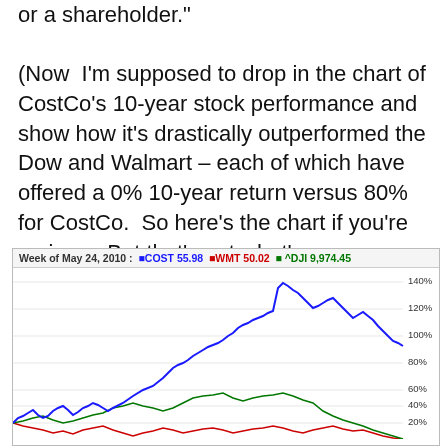or a shareholder."

(Now I'm supposed to drop in the chart of CostCo's 10-year stock performance and show how it's drastically outperformed the Dow and Walmart – each of which have offered a 0% 10-year return versus 80% for CostCo. So here's the chart if you're curious. But that's not what's on my mind.)
[Figure (continuous-plot): 10-year stock performance line chart comparing COST (blue), WMT (red), and ^DJI (green). Y-axis shows percentage return from 20% to 140%. COST line (blue) peaks near 140% around mid-chart then ends around 80-100%. WMT (red) stays near 0%. DJI (green) reaches about 30-40% then declines.]